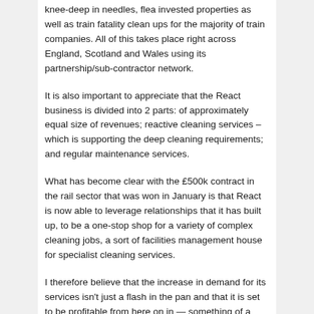knee-deep in needles, flea invested properties as well as train fatality clean ups for the majority of train companies. All of this takes place right across England, Scotland and Wales using its partnership/sub-contractor network.
It is also important to appreciate that the React business is divided into 2 parts: of approximately equal size of revenues; reactive cleaning services – which is supporting the deep cleaning requirements; and regular maintenance services.
What has become clear with the £500k contract in the rail sector that was won in January is that React is now able to leverage relationships that it has built up, to be a one-stop shop for a variety of complex cleaning jobs, a sort of facilities management house for specialist cleaning services.
I therefore believe that the increase in demand for its services isn't just a flash in the pan and that it is set to be profitable from here on in — something of a rarity for a